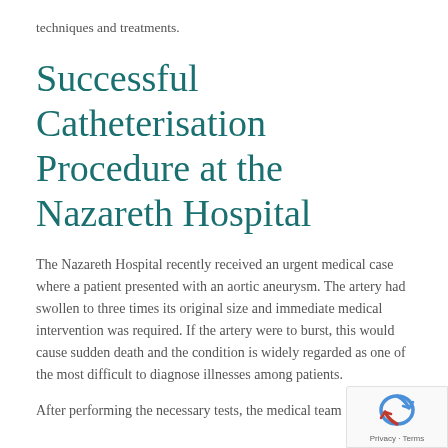techniques and treatments.
Successful Catheterisation Procedure at the Nazareth Hospital
The Nazareth Hospital recently received an urgent medical case where a patient presented with an aortic aneurysm. The artery had swollen to three times its original size and immediate medical intervention was required. If the artery were to burst, this would cause sudden death and the condition is widely regarded as one of the most difficult to diagnose illnesses among patients.
After performing the necessary tests, the medical team